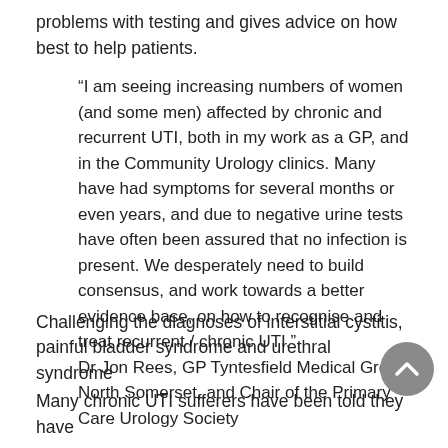problems with testing and gives advice on how best to help patients.
“I am seeing increasing numbers of women (and some men) affected by chronic and recurrent UTI, both in my work as a GP, and in the Community Urology clinics. Many have had symptoms for several months or even years, and due to negative urine tests have often been assured that no infection is present. We desperately need to build consensus, and work towards a better evidence base, on how to recognise and treat recurrent / chronic UTI.”
Dr Jon Rees, GP Tyntesfield Medical Group, North Somerset, and Chair of the Primary Care Urology Society
Challenging the diagnoses of interstitial cystitis, painful bladder syndrome and urethral syndrome
Many chronic UTI sufferers have been told they have